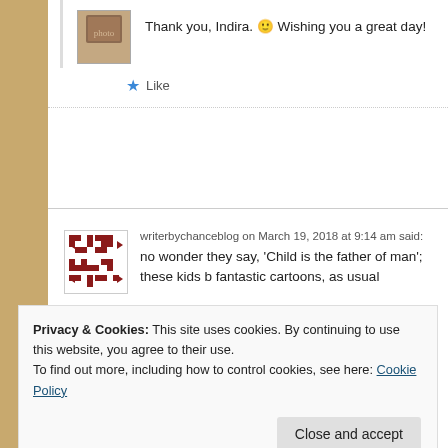Thank you, Indira. 🙂 Wishing you a great day!
Like
writerbychanceblog on March 19, 2018 at 9:14 am said:
no wonder they say, 'Child is the father of man'; these kids b fantastic cartoons, as usual
Liked by 1 person
Privacy & Cookies: This site uses cookies. By continuing to use this website, you agree to their use.
To find out more, including how to control cookies, see here: Cookie Policy
Close and accept